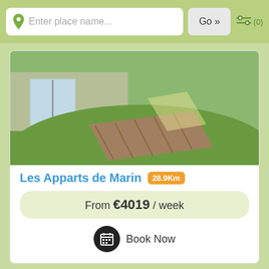Enter place name... | Go » | (0)
[Figure (photo): Wooden deck/terrace with green grass lawn and glass door in background]
Les Apparts de Marin 28.9Km
From €4019 / week
Book Now
[Figure (photo): Small bedroom interior with single bed with floral mattress, wooden headboard, wardrobe and window]